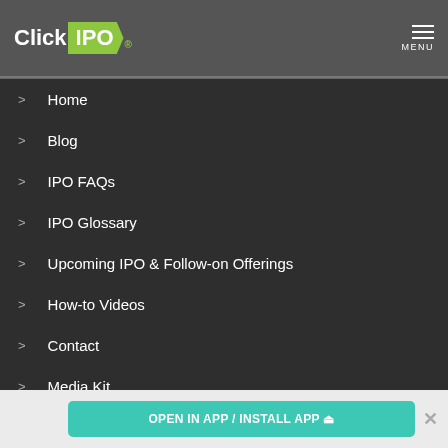[Figure (logo): ClickIPO logo with white 'Click' text and green banner 'IPO' text on dark gray header]
> Home
> Blog
> IPO FAQs
> IPO Glossary
> Upcoming IPO & Follow-on Offerings
> How-to Videos
> Contact
> Media Kit
NEWSLETTER SIGNUP
OPEN IN APP / INSTALL APP